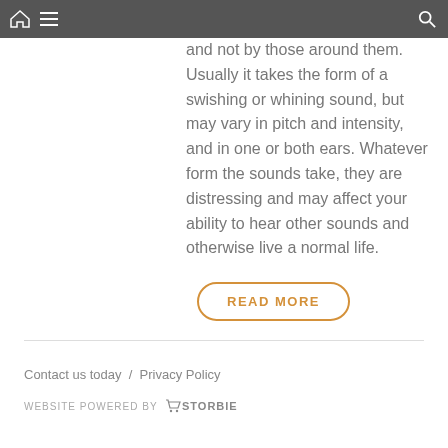Navigation bar with home, menu, and search icons
and not by those around them. Usually it takes the form of a swishing or whining sound, but may vary in pitch and intensity, and in one or both ears. Whatever form the sounds take, they are distressing and may affect your ability to hear other sounds and otherwise live a normal life.
READ MORE
Contact us today / Privacy Policy
WEBSITE POWERED BY STORBIE